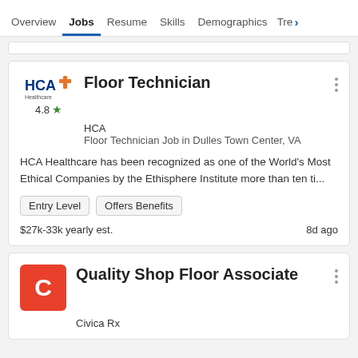Overview  Jobs  Resume  Skills  Demographics  Tre>
Floor Technician
HCA
Floor Technician Job in Dulles Town Center, VA
HCA Healthcare has been recognized as one of the World's Most Ethical Companies by the Ethisphere Institute more than ten ti...
Entry Level
Offers Benefits
$27k-33k yearly est.  8d ago
Quality Shop Floor Associate
Civica Rx